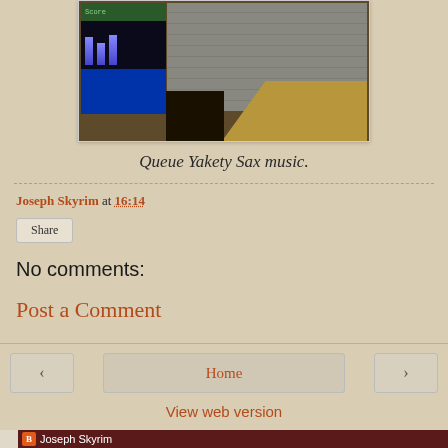[Figure (screenshot): A screenshot of a video game (appears to be an old isometric or top-down game) showing a HUD on the left with blue bars/stats, stone/rocky terrain in the center, and sandy terrain on the right. The HUD shows a score/stats area at the top in green text.]
Queue Yakety Sax music.
Joseph Skyrim at 16:14
Share
No comments:
Post a Comment
Home
View web version
Joseph Skyrim